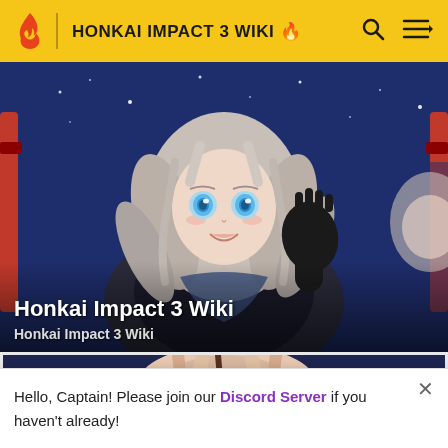HONKAI IMPACT 3 WIKI
[Figure (illustration): Anime-style illustration of a white-haired female character with blue eyes wearing a black outfit, raising one black-gloved hand, against a dark blue starry sky background. A similar mirrored image appears on the right side.]
Honkai Impact 3 Wiki
Honkai Impact 3 Wiki
[Figure (illustration): Anime-style illustration showing a pink/blonde-haired character from above, partially visible, against a dark blue background.]
Hello, Captain! Please join our Discord Server if you haven't already!